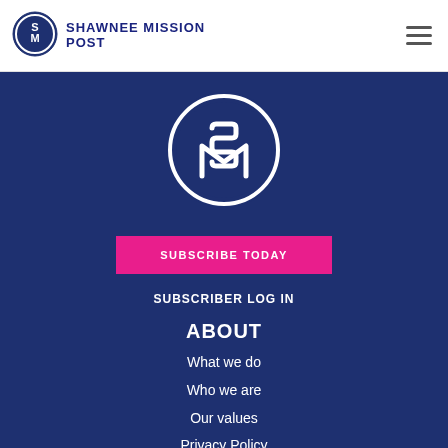[Figure (logo): Shawnee Mission Post logo: circular SM emblem in dark blue and white]
SHAWNEE MISSION POST
[Figure (logo): Large Shawnee Mission Post circular SM logo in white on dark blue background]
SUBSCRIBE TODAY
SUBSCRIBER LOG IN
ABOUT
What we do
Who we are
Our values
Privacy Policy